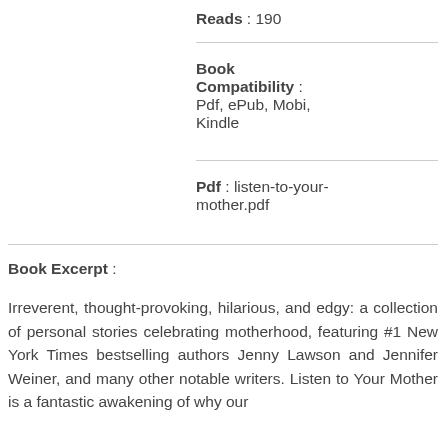Reads : 190
Book Compatibility : Pdf, ePub, Mobi, Kindle
Pdf : listen-to-your-mother.pdf
Book Excerpt :
Irreverent, thought-provoking, hilarious, and edgy: a collection of personal stories celebrating motherhood, featuring #1 New York Times bestselling authors Jenny Lawson and Jennifer Weiner, and many other notable writers. Listen to Your Mother is a fantastic awakening of why our